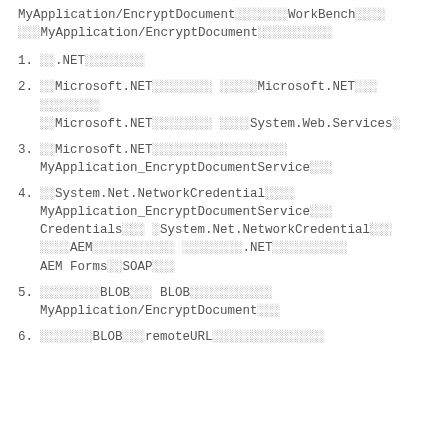MyApplication/EncryptDocument[garbled]WorkBench[garbled][garbled][garbled]MyApplication/EncryptDocument[garbled]
1. [garbled].NET[garbled]
2. [garbled]Microsoft.NET[garbled] [garbled]Microsoft.NET[garbled] [garbled][garbled]Microsoft.NET[garbled] [garbled]System.Web.Services[garbled]
3. [garbled]Microsoft.NET[garbled]MyApplication_EncryptDocumentService[garbled]
4. [garbled]System.Net.NetworkCredential[garbled]MyApplication_EncryptDocumentService[garbled]Credentials[garbled] [garbled]System.Net.NetworkCredential[garbled][garbled]AEM[garbled] [garbled].NET[garbled]AEM Forms[garbled]SOAP[garbled]
5. [garbled]BLOB[garbled] BLOB[garbled]MyApplication/EncryptDocument[garbled]
6. [garbled]BLOB[garbled]remoteURL[garbled]